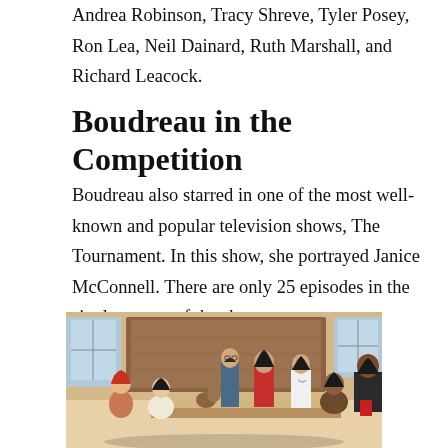Andrea Robinson, Tracy Shreve, Tyler Posey, Ron Lea, Neil Dainard, Ruth Marshall, and Richard Leacock.
Boudreau in the Competition
Boudreau also starred in one of the most well-known and popular television shows, The Tournament. In this show, she portrayed Janice McConnell. There are only 25 episodes in the single season of the show.
[Figure (photo): Group photo of TV show cast members seated and standing together in what appears to be an indoor set with wooden walls and windows.]